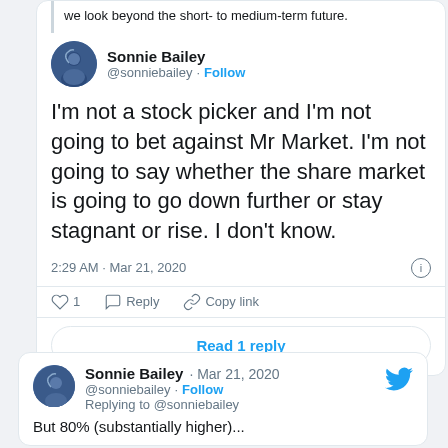we look beyond the short- to medium-term future.
Sonnie Bailey @sonniebailey · Follow
I'm not a stock picker and I'm not going to bet against Mr Market. I'm not going to say whether the share market is going to go down further or stay stagnant or rise. I don't know.
2:29 AM · Mar 21, 2020
1  Reply  Copy link
Read 1 reply
Sonnie Bailey · Mar 21, 2020 @sonniebailey · Follow Replying to @sonniebailey
But 80% (substantially higher)...